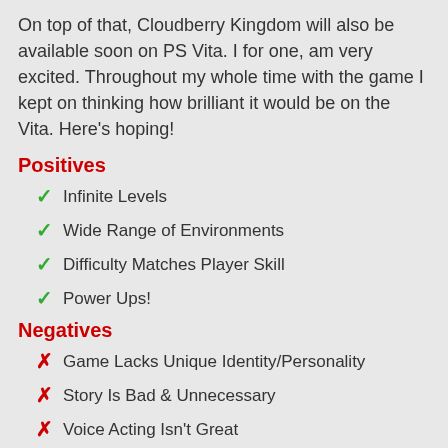On top of that, Cloudberry Kingdom will also be available soon on PS Vita. I for one, am very excited. Throughout my whole time with the game I kept on thinking how brilliant it would be on the Vita. Here's hoping!
Positives
✓ Infinite Levels
✓ Wide Range of Environments
✓ Difficulty Matches Player Skill
✓ Power Ups!
Negatives
✗ Game Lacks Unique Identity/Personality
✗ Story Is Bad & Unnecessary
✗ Voice Acting Isn't Great
Trailer
[Figure (other): Black video player area at the bottom of the page]